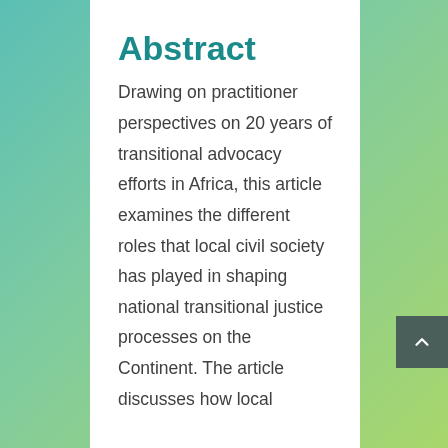Abstract
Drawing on practitioner perspectives on 20 years of transitional advocacy efforts in Africa, this article examines the different roles that local civil society has played in shaping national transitional justice processes on the Continent. The article discusses how local